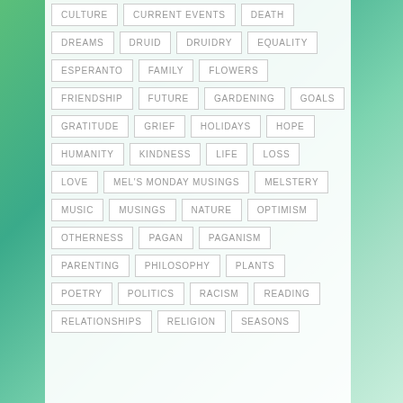CULTURE
CURRENT EVENTS
DEATH
DREAMS
DRUID
DRUIDRY
EQUALITY
ESPERANTO
FAMILY
FLOWERS
FRIENDSHIP
FUTURE
GARDENING
GOALS
GRATITUDE
GRIEF
HOLIDAYS
HOPE
HUMANITY
KINDNESS
LIFE
LOSS
LOVE
MEL'S MONDAY MUSINGS
MELSTERY
MUSIC
MUSINGS
NATURE
OPTIMISM
OTHERNESS
PAGAN
PAGANISM
PARENTING
PHILOSOPHY
PLANTS
POETRY
POLITICS
RACISM
READING
RELATIONSHIPS
RELIGION
SEASONS